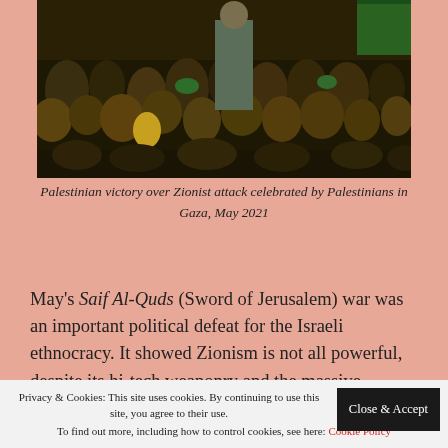[Figure (photo): Large crowd of Palestinians celebrating, many men visible, some wearing green, dense crowd scene]
Palestinian victory over Zionist attack celebrated by Palestinians in Gaza, May 2021
May's Saif Al-Quds (Sword of Jerusalem) war was an important political defeat for the Israeli ethnocracy. It showed Zionism is not all powerful, despite its hi-tech weaponry and the massive military and economic largesse it receives from its imperialist allies with their overlapping Zionist lobbies – Israel's partners in crime.
Privacy & Cookies: This site uses cookies. By continuing to use this site, you agree to their use. To find out more, including how to control cookies, see here: Cookie Policy